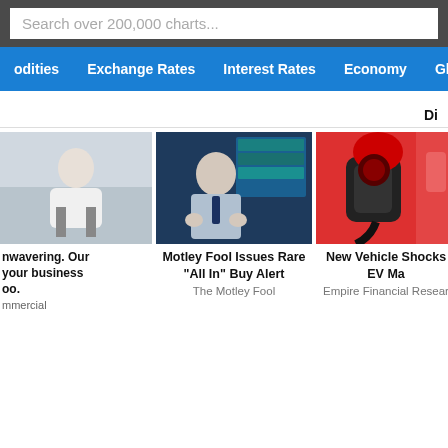Search over 200,000 charts...
odities   Exchange Rates   Interest Rates   Economy   Glo
Di
[Figure (photo): Woman sitting on chair, professional setting]
nwavering. Our your business oo.
mmercial
[Figure (photo): Man in shirt and tie gesturing with hands in front of financial trading screens]
Motley Fool Issues Rare "All In" Buy Alert
The Motley Fool
[Figure (photo): Red electric vehicle charging port with cable plugged in]
New Vehicle Shocks EV Ma
Empire Financial Resear